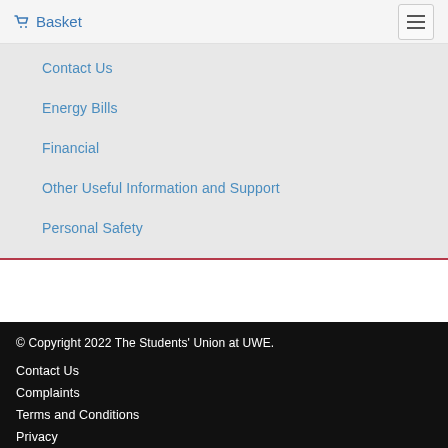Basket
Contact Us
Energy Bills
Financial
Other Useful Information and Support
Personal Safety
© Copyright 2022 The Students' Union at UWE.
Contact Us
Complaints
Terms and Conditions
Privacy
Cookies